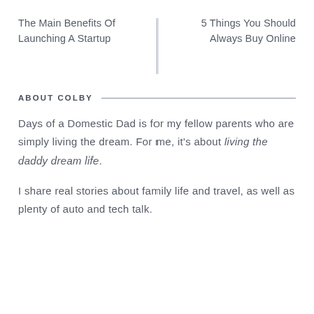The Main Benefits Of Launching A Startup
5 Things You Should Always Buy Online
ABOUT COLBY
Days of a Domestic Dad is for my fellow parents who are simply living the dream. For me, it's about living the daddy dream life.
I share real stories about family life and travel, as well as plenty of auto and tech talk.